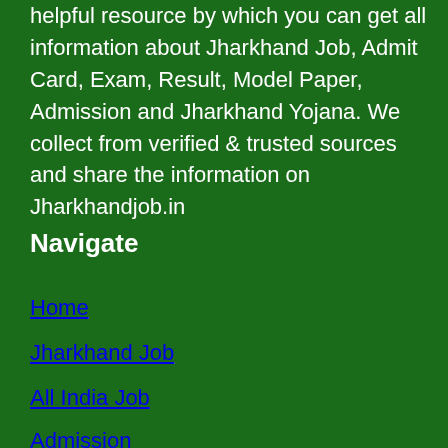Jharkhand Job Portal (jharkhandjob.in) is a helpful resource by which you can get all information about Jharkhand Job, Admit Card, Exam, Result, Model Paper, Admission and Jharkhand Yojana. We collect from verified & trusted sources and share the information on Jharkhandjob.in
Navigate
Home
Jharkhand Job
All India Job
Admission